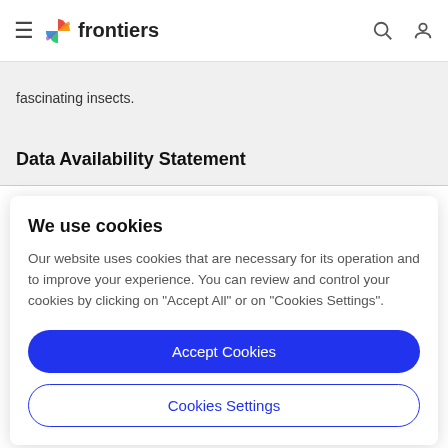frontiers
fascinating insects.
Data Availability Statement
We use cookies
Our website uses cookies that are necessary for its operation and to improve your experience. You can review and control your cookies by clicking on "Accept All" or on "Cookies Settings".
Accept Cookies
Cookies Settings